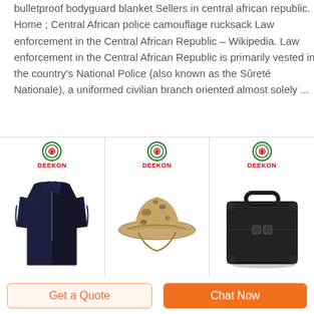bulletproof bodyguard blanket Sellers in central african republic. Home ; Central African police camouflage rucksack Law enforcement in the Central African Republic – Wikipedia. Law enforcement in the Central African Republic is primarily vested in the country's National Police (also known as the Sûreté Nationale), a uniformed civilian branch oriented almost solely ...
[Figure (photo): Three product images from DEEKON brand: a black tactical combat shirt, a camouflage boonie hat, and a black hard-shell briefcase/equipment case.]
bulletproof vest dealers
Get a Quote
Chat Now